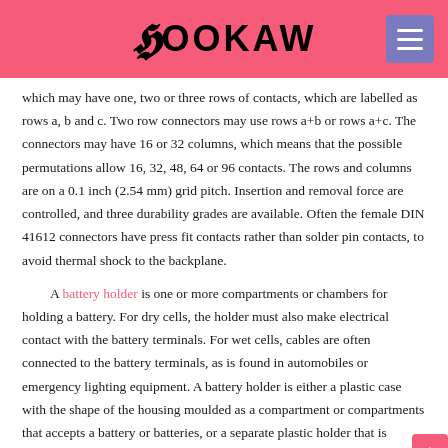BOOKAW
which may have one, two or three rows of contacts, which are labelled as rows a, b and c. Two row connectors may use rows a+b or rows a+c. The connectors may have 16 or 32 columns, which means that the possible permutations allow 16, 32, 48, 64 or 96 contacts. The rows and columns are on a 0.1 inch (2.54 mm) grid pitch. Insertion and removal force are controlled, and three durability grades are available. Often the female DIN 41612 connectors have press fit contacts rather than solder pin contacts, to avoid thermal shock to the backplane.
A battery holder is one or more compartments or chambers for holding a battery. For dry cells, the holder must also make electrical contact with the battery terminals. For wet cells, cables are often connected to the battery terminals, as is found in automobiles or emergency lighting equipment. A battery holder is either a plastic case with the shape of the housing moulded as a compartment or compartments that accepts a battery or batteries, or a separate plastic holder that is mounted with